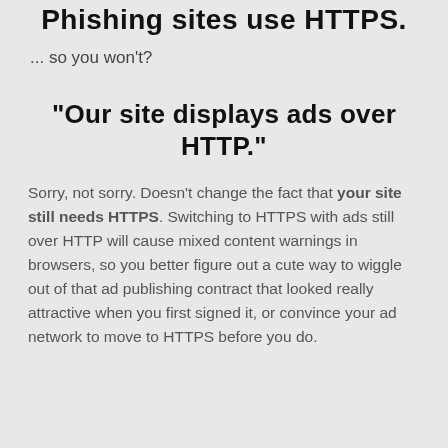Phishing sites use HTTPS.
... so you won't?
"Our site displays ads over HTTP."
Sorry, not sorry. Doesn't change the fact that your site still needs HTTPS. Switching to HTTPS with ads still over HTTP will cause mixed content warnings in browsers, so you better figure out a cute way to wiggle out of that ad publishing contract that looked really attractive when you first signed it, or convince your ad network to move to HTTPS before you do.